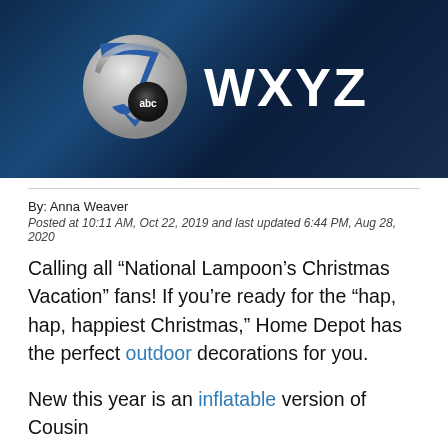[Figure (logo): WXYZ ABC 7 television station logo on dark blue background]
By: Anna Weaver
Posted at 10:11 AM, Oct 22, 2019 and last updated 6:44 PM, Aug 28, 2020
Calling all “National Lampoon’s Christmas Vacation” fans! If you’re ready for the “hap, hap, happiest Christmas,” Home Depot has the perfect outdoor decorations for you.
New this year is an inflatable version of Cousin